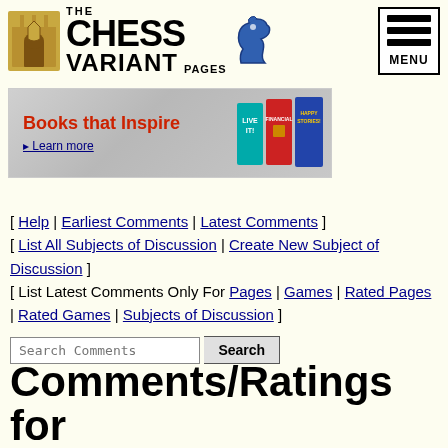[Figure (logo): The Chess Variant Pages logo with castle icon, horse icon, and text]
[Figure (illustration): Menu button with three horizontal bars and MENU label]
[Figure (illustration): Advertisement banner: Books that Inspire, Learn more, with book cover images]
[ Help | Earliest Comments | Latest Comments ]
[ List All Subjects of Discussion | Create New Subject of Discussion ]
[ List Latest Comments Only For Pages | Games | Rated Pages | Rated Games | Subjects of Discussion ]
Search Comments [Search button]
Comments/Ratings for